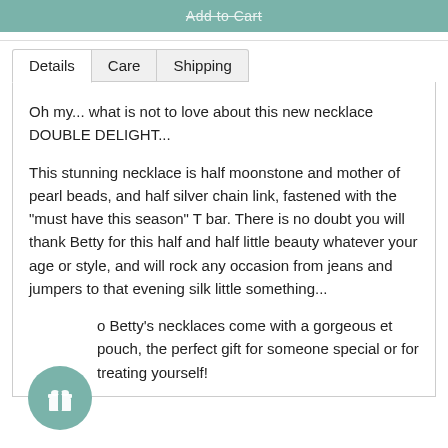Add to Cart
Oh my... what is not to love about this new necklace DOUBLE DELIGHT...
This stunning necklace is half moonstone and mother of pearl beads, and half silver chain link, fastened with the "must have this season" T bar. There is no doubt you will thank Betty for this half and half little beauty whatever your age or style, and will rock any occasion from jeans and jumpers to that evening silk little something...
...o Betty's necklaces come with a gorgeous ...et pouch, the perfect gift for someone special or for treating yourself!
[Figure (illustration): Circular teal/green gift icon button with a white gift box symbol, positioned at bottom left]